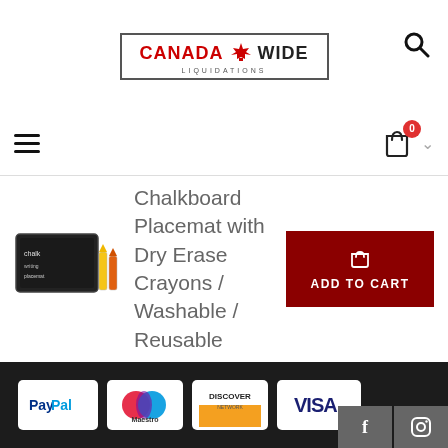Canada Wide Liquidations
[Figure (logo): Canada Wide Liquidations logo with red maple leaf silhouette, text 'CANADA WIDE LIQUIDATIONS' in bordered box]
Chalkboard Placemat with Dry Erase Crayons / Washable / Reusable
[Figure (photo): Small product image of a chalkboard placemat with crayons]
ADD TO CART
[Figure (logo): Payment icons: PayPal, Maestro, Discover Network, Visa]
Facebook and Instagram social icons